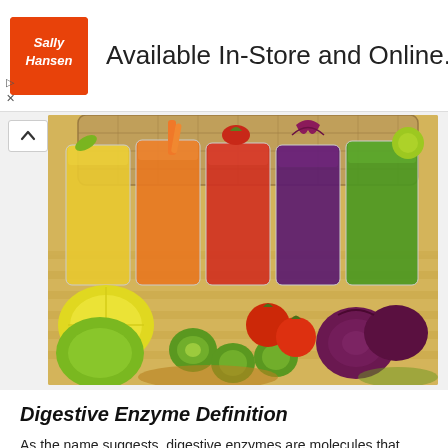[Figure (screenshot): Sally Hansen advertisement banner: orange logo on left, text 'Available In-Store and Online.' in center, blue diamond arrow icon on right]
[Figure (photo): Five glasses of colorful vegetable and fruit juices (yellow, orange, red/tomato, dark purple/beet, green) with fresh vegetables and fruits arranged in front including lemon, cucumber slices, tomatoes, beets, on a bamboo mat background with a wicker basket]
Digestive Enzyme Definition
As the name suggests, digestive enzymes are molecules that